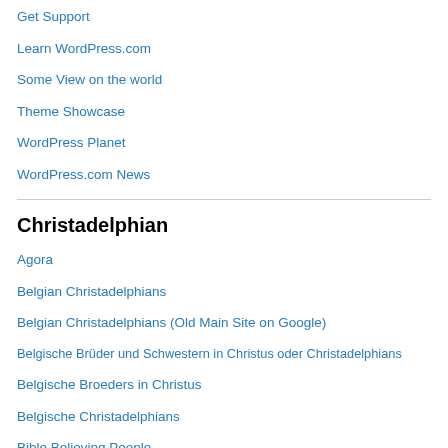Get Support
Learn WordPress.com
Some View on the world
Theme Showcase
WordPress Planet
WordPress.com News
Christadelphian
Agora
Belgian Christadelphians
Belgian Christadelphians (Old Main Site on Google)
Belgische Brüder und Schwestern in Christus oder Christadelphians
Belgische Broeders in Christus
Belgische Christadelphians
Bible Believing People
Bracia w Chrystusie
Broeders in Christus
Broeders in Christus (Flemish Christadelphians on Wordpress)